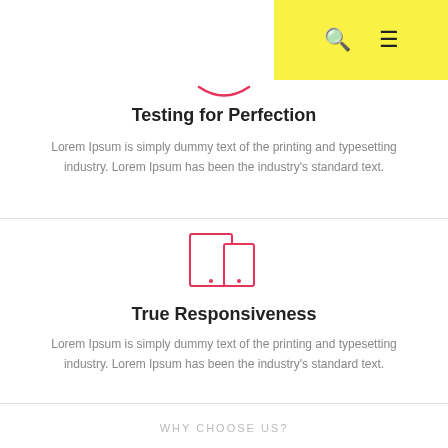[Figure (other): Yellow navigation bar top right with search icon and hamburger menu icon]
[Figure (illustration): Pink/red arc or smile curve icon]
Testing for Perfection
Lorem Ipsum is simply dummy text of the printing and typesetting industry. Lorem Ipsum has been the industry's standard text.
[Figure (illustration): Pink/red outline icon of tablet and phone devices side by side]
True Responsiveness
Lorem Ipsum is simply dummy text of the printing and typesetting industry. Lorem Ipsum has been the industry's standard text.
WHY CHOOSE US?